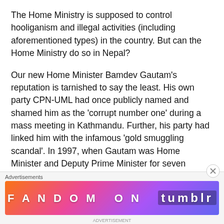The Home Ministry is supposed to control hooliganism and illegal activities (including aforementioned types) in the country. But can the Home Ministry do so in Nepal?
Our new Home Minister Bamdev Gautam's reputation is tarnished to say the least. His own party CPN-UML had once publicly named and shamed him as the 'corrupt number one' during a mass meeting in Kathmandu. Further, his party had linked him with the infamous 'gold smuggling scandal'. In 1997, when Gautam was Home Minister and Deputy Prime Minister for seven months, he was implicated for using the government machinery to support a gold smuggling
Advertisements
[Figure (infographic): Advertisement banner for 'Fandom on Tumblr' with colorful gradient background (orange, pink, purple) and decorative elements]